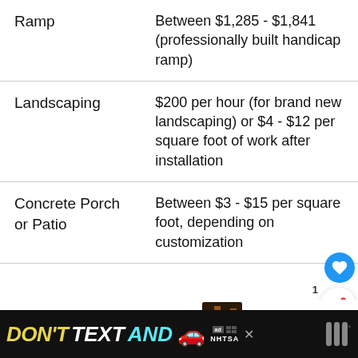| Item | Cost |
| --- | --- |
| Ramp | Between $1,285 - $1,841 (professionally built handicap ramp) |
| Landscaping | $200 per hour (for brand new landscaping) or $4 - $12 per square foot of work after installation |
| Concrete Porch or Patio | Between $3 - $15 per square foot, depending on customization |
[Figure (other): Ad banner: DON'T TEXT AND [car emoji] with NHTSA logo and close button]